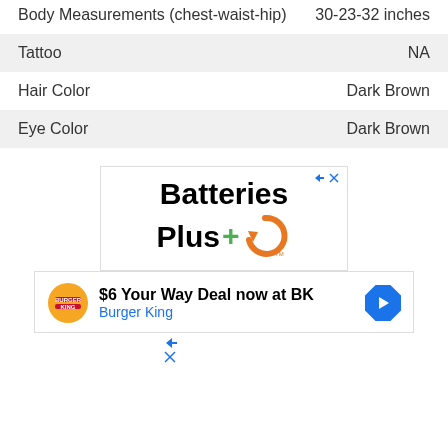| Attribute | Value |
| --- | --- |
| Body Measurements (chest-waist-hip) | 30-23-32 inches |
| Tattoo | NA |
| Hair Color | Dark Brown |
| Eye Color | Dark Brown |
[Figure (advertisement): Batteries Plus logo advertisement with orange circular arrow, green plus sign]
[Figure (advertisement): Burger King $6 Your Way Deal advertisement with BK logo and navigation arrow icon]